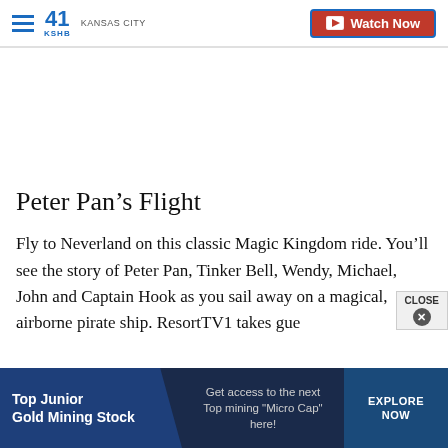41 KSHB KANSAS CITY | Watch Now
Peter Pan’s Flight
Fly to Neverland on this classic Magic Kingdom ride. You’ll see the story of Peter Pan, Tinker Bell, Wendy, Michael, John and Captain Hook as you sail away on a magical, airborne pirate ship. ResortTV1 takes gue
[Figure (screenshot): Advertisement banner at bottom: Top Junior Gold Mining Stock - Get access to the next Top mining "Micro Cap" here! EXPLORE NOW]